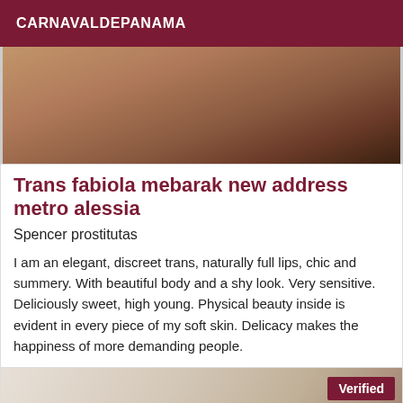CARNAVALDEPANAMA
[Figure (photo): Blurred close-up photo of a person, dark tones]
Trans fabiola mebarak new address metro alessia
Spencer prostitutas
I am an elegant, discreet trans, naturally full lips, chic and summery. With beautiful body and a shy look. Very sensitive. Deliciously sweet, high young. Physical beauty inside is evident in every piece of my soft skin. Delicacy makes the happiness of more demanding people.
[Figure (photo): Blurred interior photo of a person, warm tones, with Verified badge]
Verified